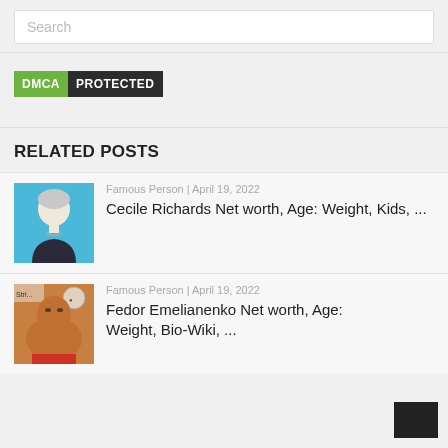Search
[Figure (logo): DMCA PROTECTED badge — green 'DMCA' block and dark 'PROTECTED' block]
RELATED POSTS
Famous Person | April 19, 2022
Cecile Richards Net worth, Age: Weight, Kids, ...
Famous Person | April 19, 2022
Fedor Emelianenko Net worth, Age: Weight, Bio-Wiki, ...